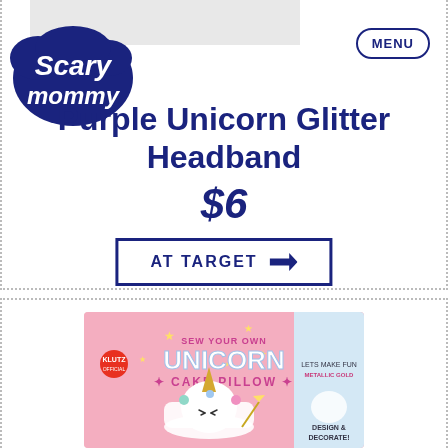Scary Mommy
Purple Unicorn Glitter Headband
$6
AT TARGET →
[Figure (photo): Klutz Sew Your Own Unicorn Cake Pillow product box with pink background, unicorn cake design, stars, and text 'Design & Decorate!']